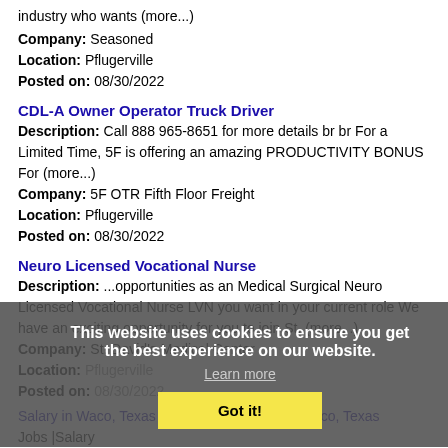industry who wants (more...)
Company: Seasoned
Location: Pflugerville
Posted on: 08/30/2022
CDL-A Owner Operator Truck Driver
Description: Call 888 965-8651 for more details br br For a Limited Time, 5F is offering an amazing PRODUCTIVITY BONUS For (more...)
Company: 5F OTR Fifth Floor Freight
Location: Pflugerville
Posted on: 08/30/2022
Neuro Licensed Vocational Nurse
Description: ...opportunities as an Medical Surgical Neuro Licensed Vocational Nurse LVN you want in your current role We have an exciting opportunity for you to join St. (more...)
Company: St. David's Medical Center
Location: Pflugerville
Posted on: 08/30/2022
This website uses cookies to ensure you get the best experience on our website. Learn more Got it!
Salary in Waco, Texas Area | More details for Waco, Texas Jobs |Salary